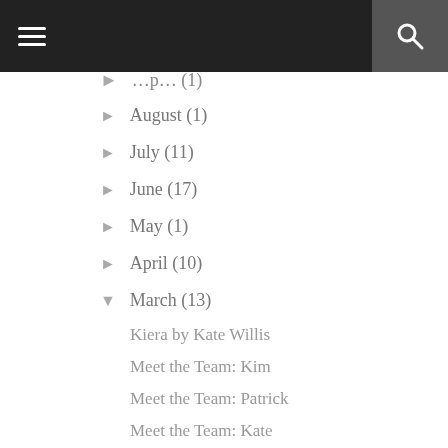Navigation bar with hamburger menu and search
▶ August (1)
▶ July (11)
▶ June (17)
▶ May (1)
▶ April (10)
▼ March (13)
Kiera by Kate Willis
Meet the Team: Kim
Meet the Team: Patrick
Meet the Team: Kate
Two Week Catch-up